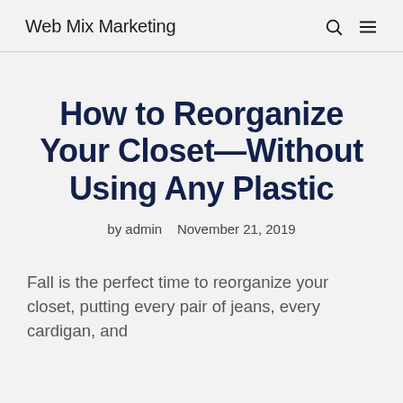Web Mix Marketing
How to Reorganize Your Closet—Without Using Any Plastic
by admin   November 21, 2019
Fall is the perfect time to reorganize your closet, putting every pair of jeans, every cardigan, and